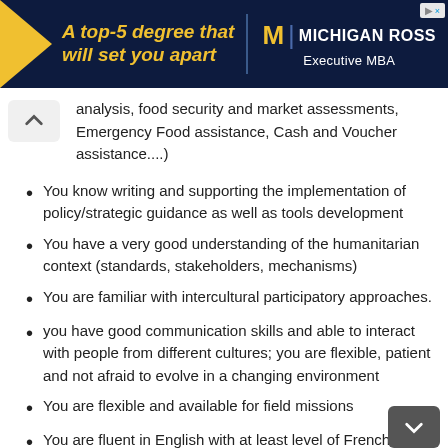[Figure (illustration): Michigan Ross Executive MBA advertisement banner with yellow triangle, gold text 'A top-5 degree that will set you apart', Michigan M logo, and white text 'MICHIGAN ROSS Executive MBA' on dark navy background]
analysis, food security and market assessments, Emergency Food assistance, Cash and Voucher assistance....)
You know writing and supporting the implementation of policy/strategic guidance as well as tools development
You have a very good understanding of the humanitarian context (standards, stakeholders, mechanisms)
You are familiar with intercultural participatory approaches.
you have good communication skills and able to interact with people from different cultures; you are flexible, patient and not afraid to evolve in a changing environment
You are flexible and available for field missions
You are fluent in English with at least level of French...